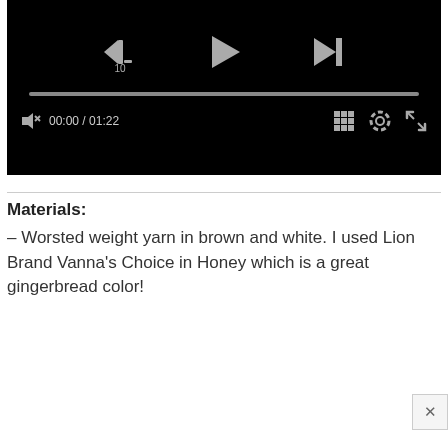[Figure (screenshot): Video player with black background showing playback controls: rewind 10s button, play button, skip-to-end button, progress bar, mute button, time display 00:00 / 01:22, grid icon, settings icon, and fullscreen icon.]
Materials:
– Worsted weight yarn in brown and white. I used Lion Brand Vanna's Choice in Honey which is a great gingerbread color!